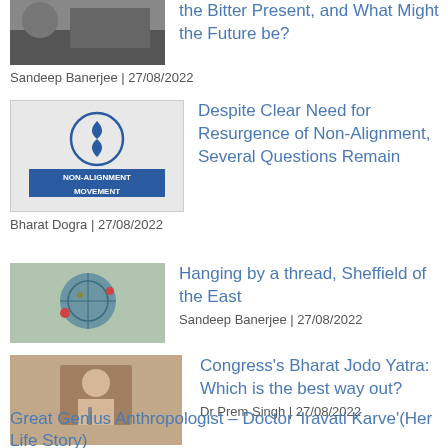the Bitter Present, and What Might the Future be?
Sandeep Banerjee | 27/08/2022
[Figure (photo): Thumbnail image for Non-Alignment Movement article showing NAM logo/signage]
Despite Clear Need for Resurgence of Non-Alignment, Several Questions Remain
Bharat Dogra | 27/08/2022
[Figure (photo): Thumbnail image for Sheffield of the East article showing globe graphic]
Hanging by a thread, Sheffield of the East
Sandeep Banerjee | 27/08/2022
[Figure (photo): Thumbnail image for Congress Bharat Jodo Yatra article showing a speaker]
Congress's Bharat Jodo Yatra: Which is the best way out?
Dr Prem Singh | 27/08/2022
Great Genius Anthropologist – Doctor 'Iravati Karve'(Her Life Story)